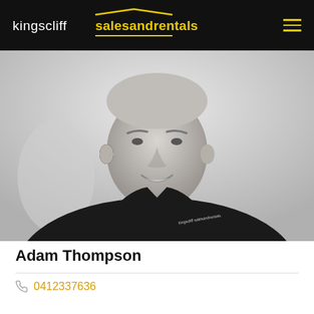[Figure (logo): Kingscliff sales and rentals logo — white text 'kingscliff' and yellow stylized 'salesandrentals' with house roofline above, on black background]
[Figure (photo): Black and white professional headshot photo of Adam Thompson, a middle-aged man smiling, wearing a dark polo shirt with 'Kingscliff salesandrentals' logo on chest]
Adam Thompson
0412337636